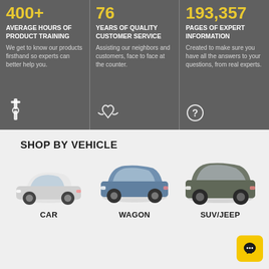400+
AVERAGE HOURS OF PRODUCT TRAINING
We get to know our products firsthand so experts can better help you.
76
YEARS OF QUALITY CUSTOMER SERVICE
Assisting our neighbors and customers, face to face at the counter.
193,357
PAGES OF EXPERT INFORMATION
Created to make sure you have all the answers to your questions, from real experts.
SHOP BY VEHICLE
[Figure (illustration): White sedan car]
CAR
[Figure (illustration): Blue station wagon/crossover car]
WAGON
[Figure (illustration): Dark gray SUV/Jeep]
SUV/JEEP